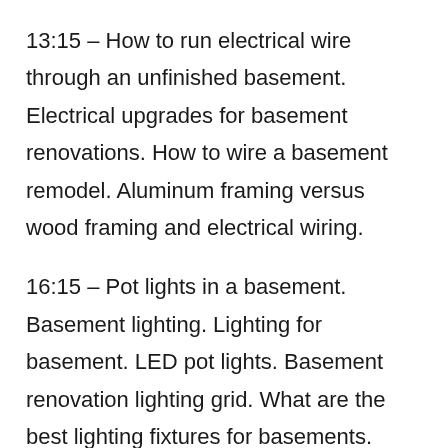13:15 – How to run electrical wire through an unfinished basement. Electrical upgrades for basement renovations. How to wire a basement remodel. Aluminum framing versus wood framing and electrical wiring.
16:15 – Pot lights in a basement. Basement lighting. Lighting for basement. LED pot lights. Basement renovation lighting grid. What are the best lighting fixtures for basements. How to light your basement. How to light your basement naturally.
18:25 – How to mount a basement TV. Where